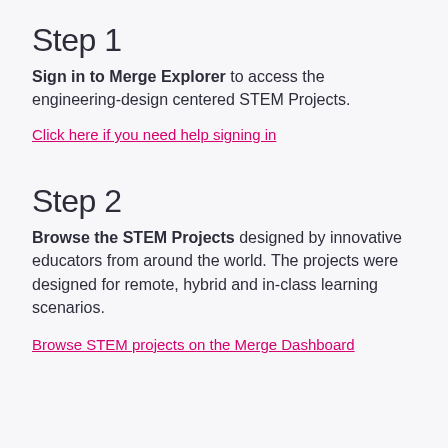Step 1
Sign in to Merge Explorer to access the engineering-design centered STEM Projects.
Click here if you need help signing in
Step 2
Browse the STEM Projects designed by innovative educators from around the world. The projects were designed for remote, hybrid and in-class learning scenarios.
Browse STEM projects on the Merge Dashboard